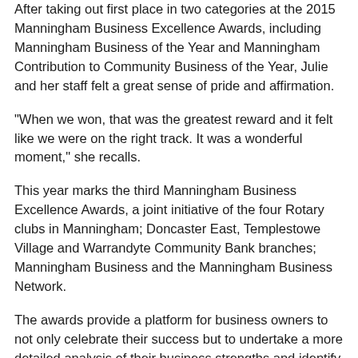After taking out first place in two categories at the 2015 Manningham Business Excellence Awards, including Manningham Business of the Year and Manningham Contribution to Community Business of the Year, Julie and her staff felt a great sense of pride and affirmation.
“When we won, that was the greatest reward and it felt like we were on the right track. It was a wonderful moment,” she recalls.
This year marks the third Manningham Business Excellence Awards, a joint initiative of the four Rotary clubs in Manningham; Doncaster East, Templestowe Village and Warrandyte Community Bank branches; Manningham Business and the Manningham Business Network.
The awards provide a platform for business owners to not only celebrate their success but to undertake a more detailed analysis of their business strengths and identify